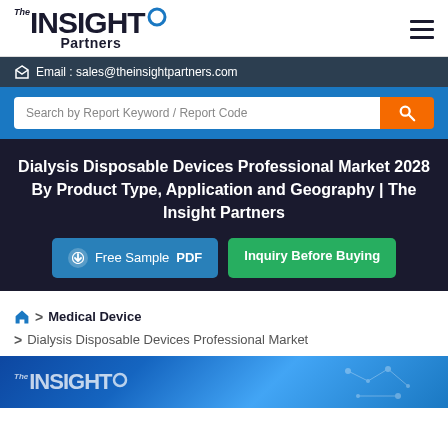[Figure (logo): The Insight Partners logo with blue circle accent]
Email : sales@theinsightpartners.com
Search by Report Keyword / Report Code
Dialysis Disposable Devices Professional Market 2028 By Product Type, Application and Geography | The Insight Partners
Free Sample PDF
Inquiry Before Buying
> Medical Device
> Dialysis Disposable Devices Professional Market
[Figure (logo): The Insight Partners logo watermark on blue background image]